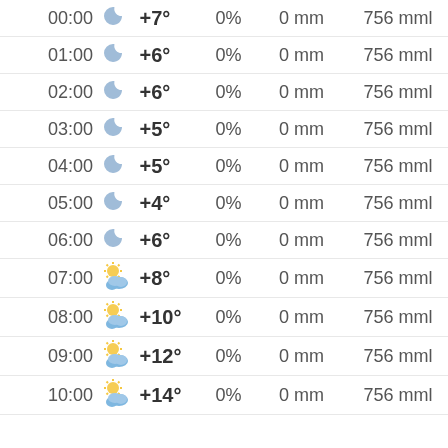| Time | Icon | Temp | Precip% | Rain | Pressure |
| --- | --- | --- | --- | --- | --- |
| 00:00 | moon | +7° | 0% | 0 mm | 756 mml |
| 01:00 | moon | +6° | 0% | 0 mm | 756 mml |
| 02:00 | moon | +6° | 0% | 0 mm | 756 mml |
| 03:00 | moon | +5° | 0% | 0 mm | 756 mml |
| 04:00 | moon | +5° | 0% | 0 mm | 756 mml |
| 05:00 | moon | +4° | 0% | 0 mm | 756 mml |
| 06:00 | moon | +6° | 0% | 0 mm | 756 mml |
| 07:00 | sun-cloud | +8° | 0% | 0 mm | 756 mml |
| 08:00 | sun-cloud | +10° | 0% | 0 mm | 756 mml |
| 09:00 | sun-cloud | +12° | 0% | 0 mm | 756 mml |
| 10:00 | sun-cloud | +14° | 0% | 0 mm | 756 mml |